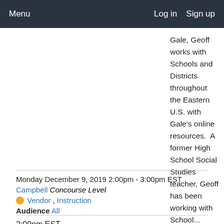Menu   Log in   Sign up
Gale, Geoff works with Schools and Districts throughout the Eastern U.S. with Gale's online resources.  A former High School Social Studies teacher, Geoff has been working with School...
Read More →
Monday December 9, 2019 2:00pm - 3:00pm EST
Campbell Concourse Level
Vendor, Instruction
Audience All
2:00pm EST